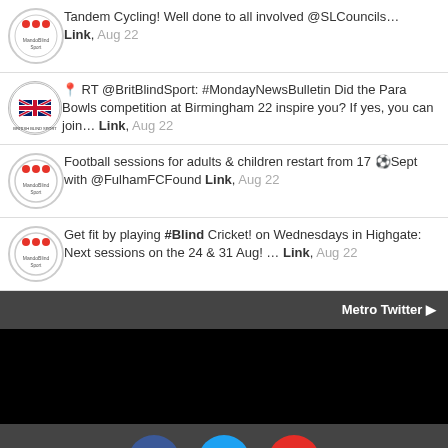Tandem Cycling! Well done to all involved @SLCouncils… Link, Aug 22
RT @BritBlindSport: #MondayNewsBulletin Did the Para Bowls competition at Birmingham 22 inspire you? If yes, you can join… Link, Aug 22
Football sessions for adults & children restart from 17 Sept with @FulhamFCFound Link, Aug 22
Get fit by playing #Blind Cricket! on Wednesdays in Highgate: Next sessions on the 24 & 31 Aug! … Link, Aug 22
Metro Twitter ▶
[Figure (logo): Facebook, Twitter, YouTube social media icons]